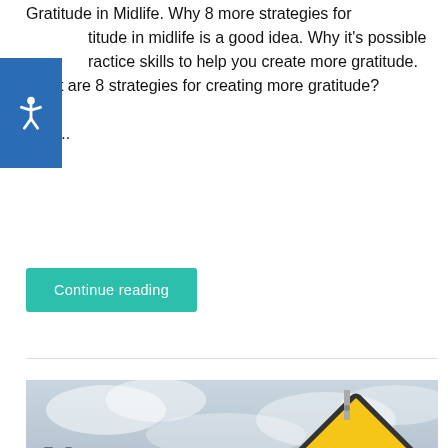Gratitude in Midlife. Why 8 more strategies for gratitude in midlife is a good idea. Why it's possible practice skills to help you create more gratitude. What are 8 strategies for creating more gratitude? Why...
Continue reading
[Figure (illustration): Women in the Middle logo on the left with text 'Women in the Middle' in grey and teal italic lettering, and a yellow diamond-shaped road sign on the right reading 'UNCERTAINTY AHEAD' in bold black text, set against a cloudy sky background.]